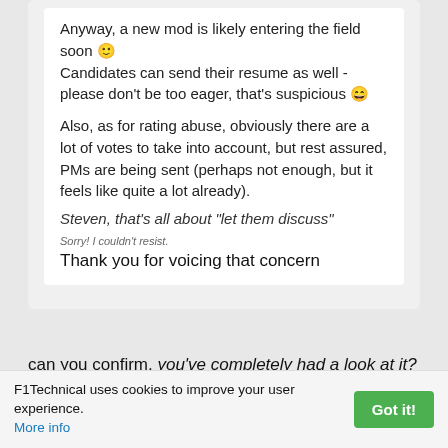Anyway, a new mod is likely entering the field soon 😉 Candidates can send their resume as well - please don't be too eager, that's suspicious 😄
Also, as for rating abuse, obviously there are a lot of votes to take into account, but rest assured, PMs are being sent (perhaps not enough, but it feels like quite a lot already).
Steven, that's all about "let them discuss"
Sorry! I couldn't resist.
Thank you for voicing that concern
can you confirm, you've completely had a look at it?
F1Technical uses cookies to improve your user experience. More info Got it!